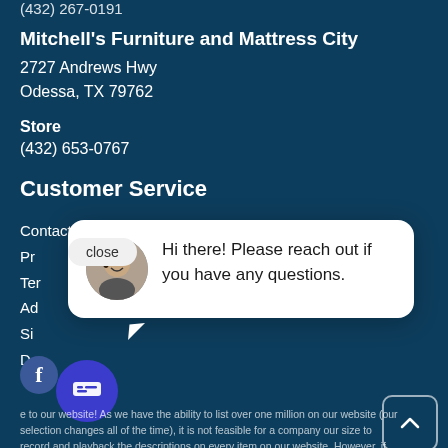(432) 267-0191
Mitchell's Furniture and Mattress City
2727 Andrews Hwy
Odessa, TX 79762
Store
(432) 653-0767
Customer Service
Contact Us
Privacy Policy
Terms of Service
Accessibility
Sitemap
Do Not Sell My Information
[Figure (screenshot): Chat popup widget with close button, avatar of a person, and message: Hi there! Please reach out if you have any questions.]
[Figure (illustration): Chat trigger button - blue circle with chat icon]
e to our website! As we have the ability to list over one million on our website (our selection changes all of the time), it is not feasible for a company our size to record and playback the descriptions on every item on our website. However, if you have a disability we are